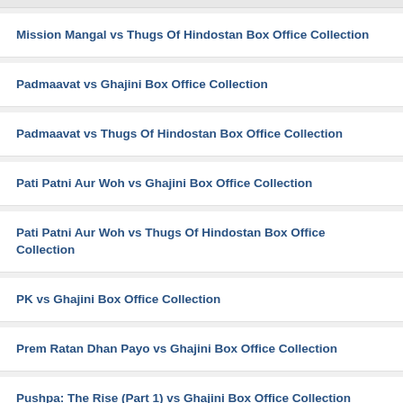Mission Mangal vs Thugs Of Hindostan Box Office Collection
Padmaavat vs Ghajini Box Office Collection
Padmaavat vs Thugs Of Hindostan Box Office Collection
Pati Patni Aur Woh vs Ghajini Box Office Collection
Pati Patni Aur Woh vs Thugs Of Hindostan Box Office Collection
PK vs Ghajini Box Office Collection
Prem Ratan Dhan Payo vs Ghajini Box Office Collection
Pushpa: The Rise (Part 1) vs Ghajini Box Office Collection
Pushpa: The Rise (Part 1) vs Thugs Of Hindostan Box Office Collection
Ra One vs Ghajini Box Office Collection